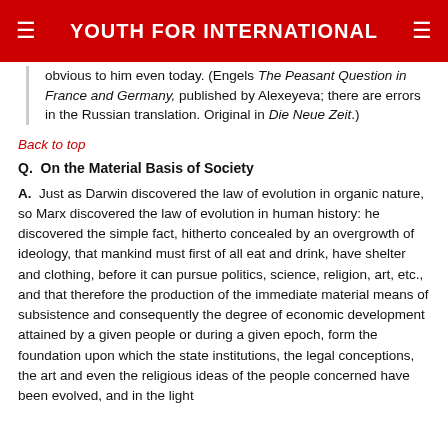YOUTH FOR INTERNATIONAL
obvious to him even today. (Engels The Peasant Question in France and Germany, published by Alexeyeva; there are errors in the Russian translation. Original in Die Neue Zeit.)
Back to top
Q.  On the Material Basis of Society
A.  Just as Darwin discovered the law of evolution in organic nature, so Marx discovered the law of evolution in human history: he discovered the simple fact, hitherto concealed by an overgrowth of ideology, that mankind must first of all eat and drink, have shelter and clothing, before it can pursue politics, science, religion, art, etc., and that therefore the production of the immediate material means of subsistence and consequently the degree of economic development attained by a given people or during a given epoch, form the foundation upon which the state institutions, the legal conceptions, the art and even the religious ideas of the people concerned have been evolved, and in the light